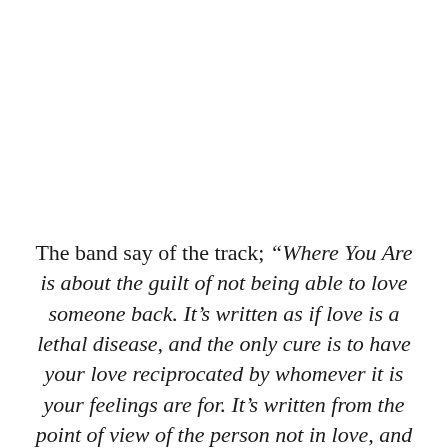The band say of the track; “Where You Are is about the guilt of not being able to love someone back. It’s written as if love is a lethal disease, and the only cure is to have your love reciprocated by whomever it is your feelings are for. It’s written from the point of view of the person not in love, and they are having to deal with the guilt and confusion of not knowing what their real feelings are, whilst watching someone they care about die.”